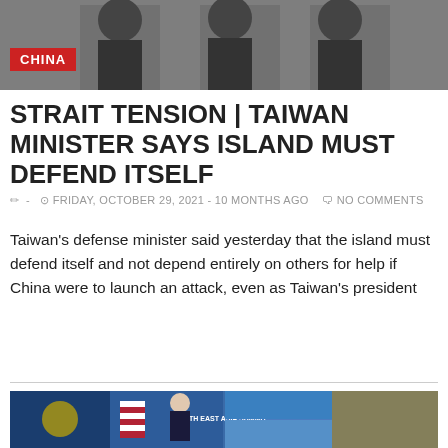[Figure (photo): Top photo showing figures in dark clothing against a dark background]
CHINA
STRAIT TENSION | TAIWAN MINISTER SAYS ISLAND MUST DEFEND ITSELF
- FRIDAY, OCTOBER 29, 2021 - 10 MONTHS AGO  NO COMMENTS
Taiwan's defense minister said yesterday that the island must defend itself and not depend entirely on others for help if China were to launch an attack, even as Taiwan's president
[Figure (photo): Bottom photo showing East Asia Summit virtual meeting with flags and officials including Biden, showing 16th East Asia Summit]